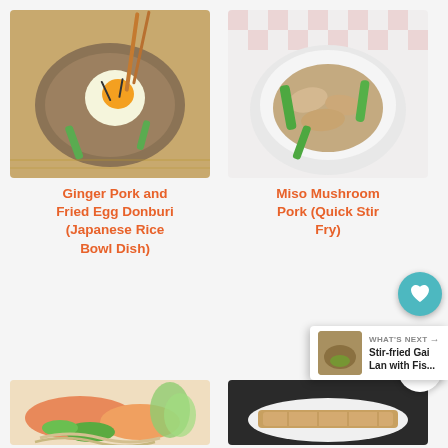[Figure (photo): A bowl of Ginger Pork and Fried Egg Donburi (Japanese rice bowl dish) with chopsticks on a bamboo mat]
[Figure (photo): A white bowl of Miso Mushroom Pork Quick Stir Fry with green peppers on a checkered cloth]
Ginger Pork and Fried Egg Donburi (Japanese Rice Bowl Dish)
Miso Mushroom Pork (Quick Stir Fry)
[Figure (photo): A plate of salmon dish with vegetables and noodles]
[Figure (photo): A dark background plate with fish dish on a white plate]
WHAT'S NEXT → Stir-fried Gai Lan with Fis...